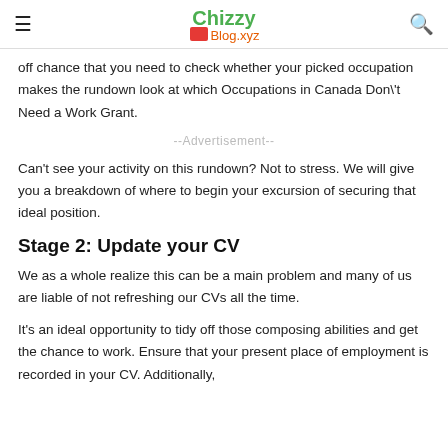Chizzy Blog.xyz
off chance that you need to check whether your picked occupation makes the rundown look at which Occupations in Canada Don\'t Need a Work Grant.
--Advertisement--
Can't see your activity on this rundown? Not to stress. We will give you a breakdown of where to begin your excursion of securing that ideal position.
Stage 2: Update your CV
We as a whole realize this can be a main problem and many of us are liable of not refreshing our CVs all the time.
It's an ideal opportunity to tidy off those composing abilities and get the chance to work. Ensure that your present place of employment is recorded in your CV. Additionally,